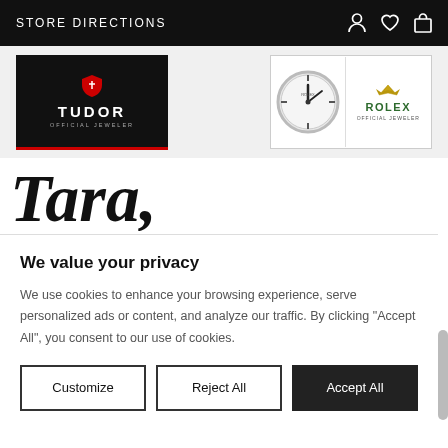STORE DIRECTIONS
[Figure (logo): Tudor Official Jeweler logo — black background with red shield icon, white text 'TUDOR OFFICIAL JEWELER', red underline]
[Figure (logo): Rolex Official Jeweler logo — white background with analog clock on left and Rolex crown logo with 'ROLEX OFFICIAL JEWELER' in green on right]
[Figure (logo): Tara script logo in black cursive lettering, partially visible]
We value your privacy
We use cookies to enhance your browsing experience, serve personalized ads or content, and analyze our traffic. By clicking "Accept All", you consent to our use of cookies.
Customize
Reject All
Accept All